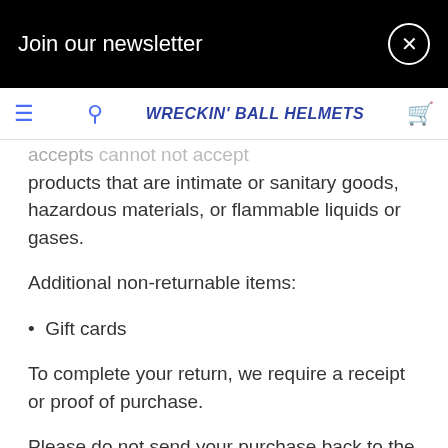Join our newsletter
WRECKIN' BALL HELMETS
accepts cannot not accept products that are intimate or sanitary goods, hazardous materials, or flammable liquids or gases.
Additional non-returnable items:
Gift cards
To complete your return, we require a receipt or proof of purchase.
Please do not send your purchase back to the manufacturer.
There are certain situations where only partial refunds are granted: (if applicable)